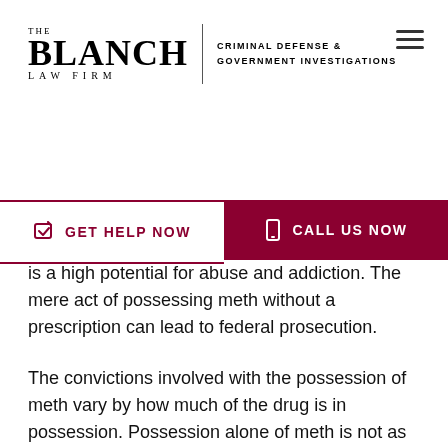[Figure (logo): The Blanch Law Firm logo with text 'Criminal Defense & Government Investigations']
GET HELP NOW | CALL US NOW
is a high potential for abuse and addiction. The mere act of possessing meth without a prescription can lead to federal prosecution.
The convictions involved with the possession of meth vary by how much of the drug is in possession. Possession alone of meth is not as severe of a crime as trafficking meth which imposes a minimum 10-year sentence.
Investigation into the distribution and manufacturing of meth has increased in recent years due to a large increase